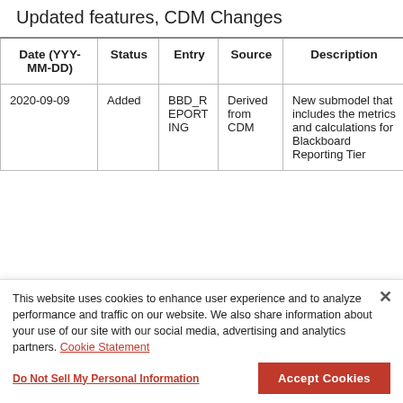Updated features, CDM Changes
| Date (YYY-MM-DD) | Status | Entry | Source | Description |
| --- | --- | --- | --- | --- |
| 2020-09-09 | Added | BBD_REPORTING | Derived from CDM | New submodel that includes the metrics and calculations for Blackboard Reporting Tier |
This website uses cookies to enhance user experience and to analyze performance and traffic on our website. We also share information about your use of our site with our social media, advertising and analytics partners. Cookie Statement
Do Not Sell My Personal Information
Accept Cookies